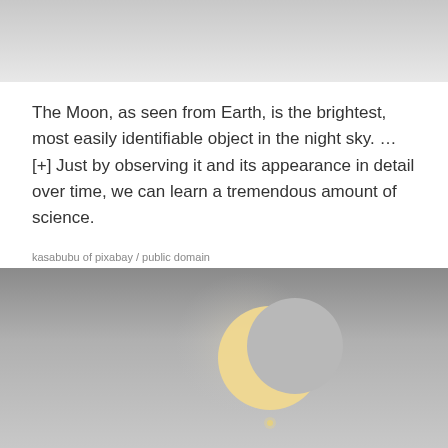[Figure (photo): Top portion of an image, appears to be a light grey area at the top of the page]
The Moon, as seen from Earth, is the brightest, most easily identifiable object in the night sky. … [+] Just by observing it and its appearance in detail over time, we can learn a tremendous amount of science.
kasabubu of pixabay / public domain
The brightest object in the night sky, our Moon is an unmistakable sight.
[Figure (photo): Photo of a crescent moon against a grey sky, with a faint bright star or planet visible below the moon]